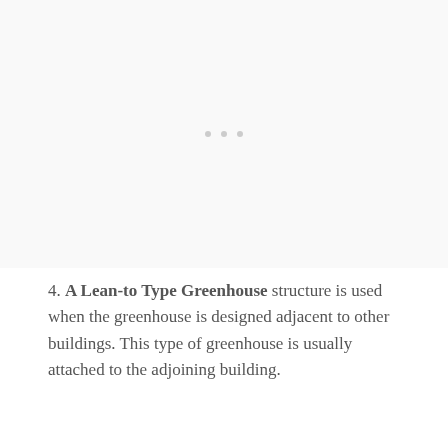[Figure (illustration): Large mostly blank illustration area with faint dots/ellipsis in the center, representing a lean-to type greenhouse image placeholder.]
4. A Lean-to Type Greenhouse structure is used when the greenhouse is designed adjacent to other buildings. This type of greenhouse is usually attached to the adjoining building.